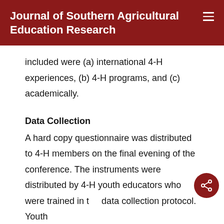Journal of Southern Agricultural Education Research
included were (a) international 4-H experiences, (b) 4-H programs, and (c) academically.
Data Collection
A hard copy questionnaire was distributed to 4-H members on the final evening of the conference. The instruments were distributed by 4-H youth educators who were trained in the data collection protocol. Youth